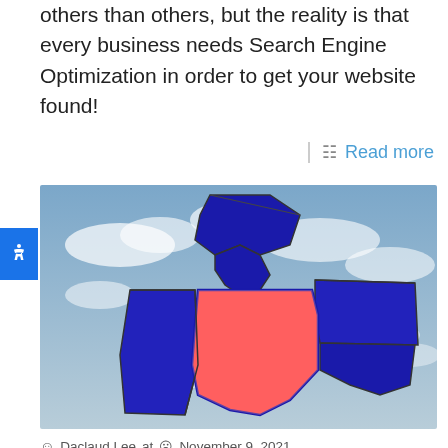others than others, but the reality is that every business needs Search Engine Optimization in order to get your website found!
Read more
[Figure (map): 3D-rendered map showing US states with Ohio highlighted in red/pink and surrounding states (Michigan, Indiana, Pennsylvania, West Virginia) highlighted in blue, against a cloudy sky background.]
Daclaud Lee at  November 9, 2021